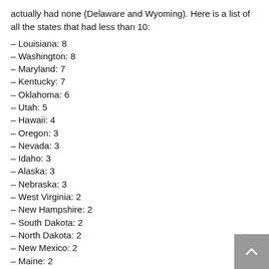actually had none (Delaware and Wyoming). Here is a list of all the states that had less than 10:
– Louisiana: 8
– Washington: 8
– Maryland: 7
– Kentucky: 7
– Oklahoma: 6
– Utah: 5
– Hawaii: 4
– Oregon: 3
– Nevada: 3
– Idaho: 3
– Alaska: 3
– Nebraska: 3
– West Virginia: 2
– New Hampshire: 2
– South Dakota: 2
– North Dakota: 2
– New Mexico: 2
– Maine: 2
– Rhode Island: 1
– Montana: 1
– Colorado: 1